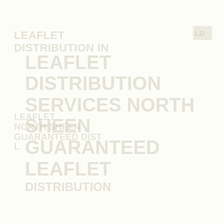[Figure (logo): Small logo or icon in top right corner]
LEAFLET
DISTRIBUTION IN
LEAFLET
NORTH SHEEN
GUARANTEED DIST
L
LEAFLET DISTRIBUTION
SERVICES NORTH SHEEN
GUARANTEED LEAFLET
DISTRIBUTION